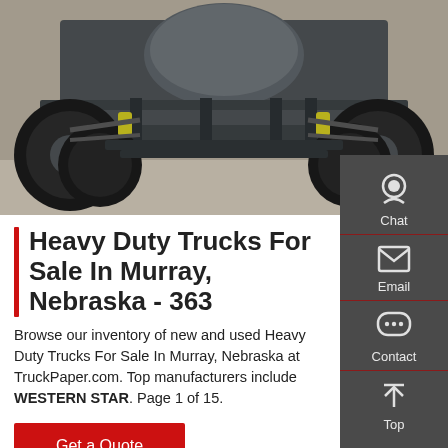[Figure (photo): Undercarriage view of a heavy-duty truck showing axles, tires, suspension components, and frame from below]
Heavy Duty Trucks For Sale In Murray, Nebraska - 363
Browse our inventory of new and used Heavy Duty Trucks For Sale In Murray, Nebraska at TruckPaper.com. Top manufacturers include WESTERN STAR. Page 1 of 15.
Get a Quote